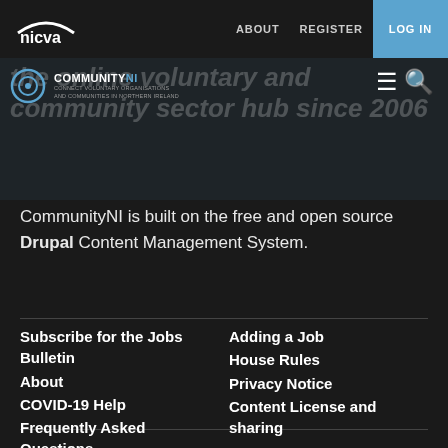nicva | ABOUT  REGISTER  LOG IN
[Figure (logo): CommunityNI logo — circular icon with COMMUNITYNI text]
the online voluntary and community sector hub since 2006
CommunityNI is built on the free and open source Drupal Content Management System.
Subscribe for the Jobs Bulletin
About
COVID-19 Help
Frequently Asked Questions
Adding a Job
House Rules
Privacy Notice
Content License and sharing